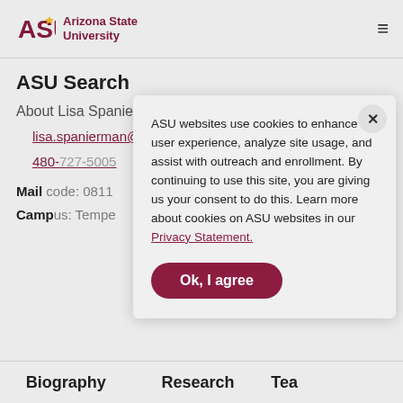[Figure (logo): Arizona State University logo with ASU text in maroon and gold sunburst icon]
ASU Search
About Lisa Spanierman, SVP – Leadership
lisa.spanierman@asu.edu
480-727-5005
Mail code: 0811
Campus: Tempe
ASU websites use cookies to enhance user experience, analyze site usage, and assist with outreach and enrollment. By continuing to use this site, you are giving us your consent to do this. Learn more about cookies on ASU websites in our Privacy Statement.
Ok, I agree
Biography   Research   Tea